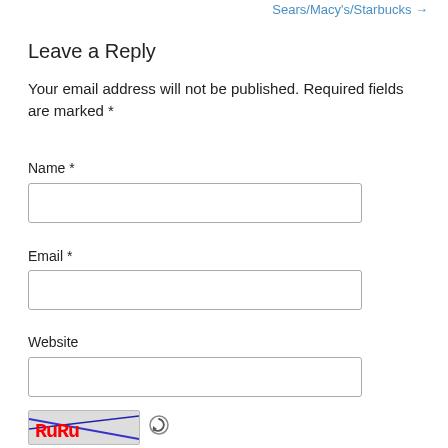Sears/Macy's/Starbucks →
Leave a Reply
Your email address will not be published. Required fields are marked *
Name *
Email *
Website
[Figure (other): CAPTCHA image with pixel art style red letters and blue diagonal lines, followed by a refresh icon]